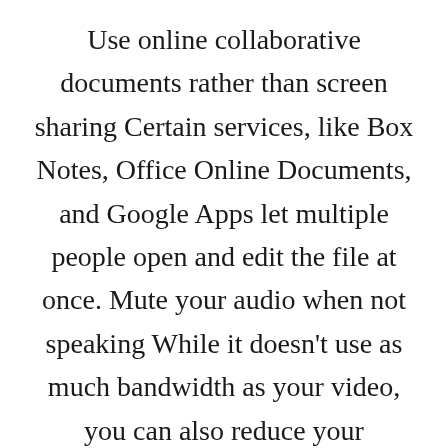Use online collaborative documents rather than screen sharing Certain services, like Box Notes, Office Online Documents, and Google Apps let multiple people open and edit the file at once. Mute your audio when not speaking While it doesn't use as much bandwidth as your video, you can also reduce your bandwidth somewhat by muting your audio when you're not speaking. Improving your Zoom performance overall Limit high-bandwidth activities by others at your